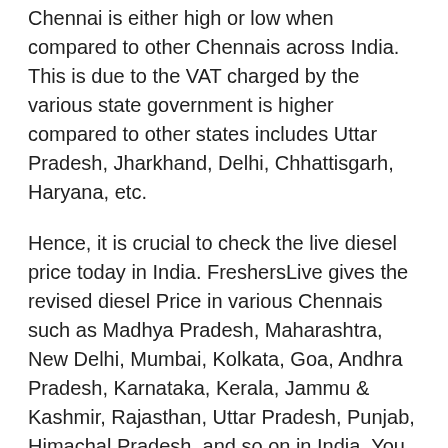Chennai is either high or low when compared to other Chennais across India. This is due to the VAT charged by the various state government is higher compared to other states includes Uttar Pradesh, Jharkhand, Delhi, Chhattisgarh, Haryana, etc.
Hence, it is crucial to check the live diesel price today in India. FreshersLive gives the revised diesel Price in various Chennais such as Madhya Pradesh, Maharashtra, New Delhi, Mumbai, Kolkata, Goa, Andhra Pradesh, Karnataka, Kerala, Jammu & Kashmir, Rajasthan, Uttar Pradesh, Punjab, Himachal Pradesh, and so on in India. You can find the exact diesel Price today in India. Have a hawk-eye on this page to get the latest updates on diesel Price in Chennai.
Latest Petrol Price in Chennai Updates